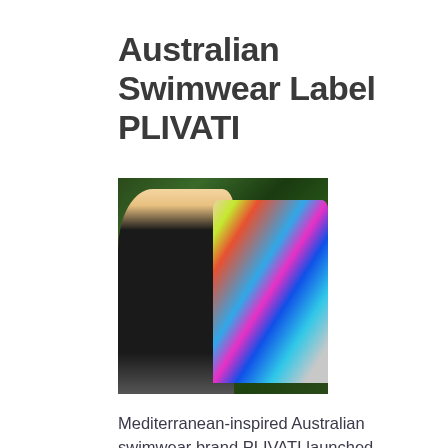Australian Swimwear Label PLIVATI
[Figure (photo): A blonde woman in a black outfit standing next to a wooden clothing rack displaying colorful swimwear pieces, in front of a green leafy hedge background.]
Mediterranean-inspired Australian swimwear brand PLIVATI launched August 2019. Since announcing the upcoming launch of a new spring collection that responds to the demand for more ethical, sustainable and